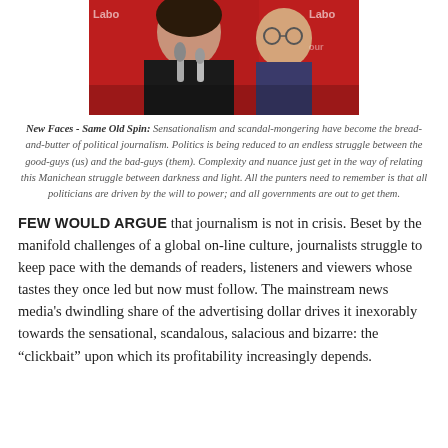[Figure (photo): Photo of two people at a press conference in front of red Labour party banners with microphones, a woman speaking and a man with glasses beside her.]
New Faces - Same Old Spin: Sensationalism and scandal-mongering have become the bread-and-butter of political journalism. Politics is being reduced to an endless struggle between the good-guys (us) and the bad-guys (them). Complexity and nuance just get in the way of relating this Manichean struggle between darkness and light. All the punters need to remember is that all politicians are driven by the will to power; and all governments are out to get them.
FEW WOULD ARGUE that journalism is not in crisis. Beset by the manifold challenges of a global on-line culture, journalists struggle to keep pace with the demands of readers, listeners and viewers whose tastes they once led but now must follow. The mainstream news media's dwindling share of the advertising dollar drives it inexorably towards the sensational, scandalous, salacious and bizarre: the “clickbait” upon which its profitability increasingly depends.